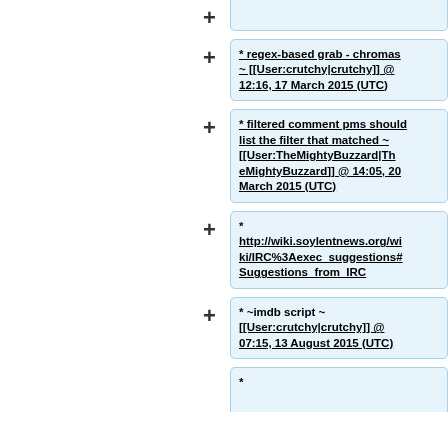* regex-based grab - chromas ~ [[User:crutchy|crutchy]] @ 12:16, 17 March 2015 (UTC)
* filtered comment pms should list the filter that matched ~ [[User:TheMightyBuzzard|TheMightyBuzzard]] @ 14:05, 20 March 2015 (UTC)
* ~ http://wiki.soylentnews.org/wiki/IRC%3Aexec_suggestions#Suggestions_from_IRC
* ~imdb script ~ [[User:crutchy|crutchy]] @ 07:15, 13 August 2015 (UTC)
*